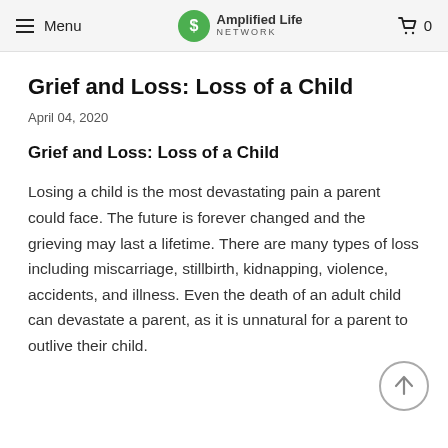Menu | Amplified Life Network | 0
Grief and Loss: Loss of a Child
April 04, 2020
Grief and Loss: Loss of a Child
Losing a child is the most devastating pain a parent could face.  The future is forever changed and the grieving may last a lifetime.  There are many types of loss including miscarriage, stillbirth, kidnapping, violence, accidents, and illness.  Even the death of an adult child can devastate a parent, as it is unnatural for a parent to outlive their child.